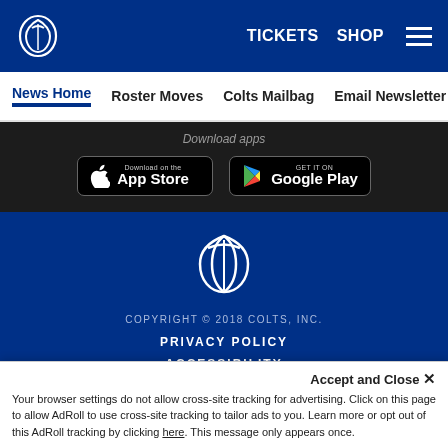TICKETS  SHOP  [menu]
News Home  Roster Moves  Colts Mailbag  Email Newsletter  U...
Download apps
[Figure (screenshot): App Store download button]
[Figure (screenshot): Google Play download button]
[Figure (logo): Indianapolis Colts horseshoe logo (white outline on dark blue background)]
COPYRIGHT © 2018 COLTS, INC.
PRIVACY POLICY
ACCESSIBILITY
Accept and Close ✕
Your browser settings do not allow cross-site tracking for advertising. Click on this page to allow AdRoll to use cross-site tracking to tailor ads to you. Learn more or opt out of this AdRoll tracking by clicking here. This message only appears once.